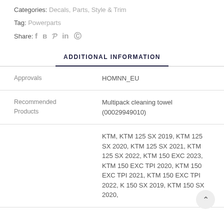Categories: Decals, Parts, Style & Trim
Tag: Powerparts
Share: f vk p in s
ADDITIONAL INFORMATION
|  |  |
| --- | --- |
| Approvals | HOMNN_EU |
| Recommended Products | Multipack cleaning towel (00029949010) |
|  | KTM, KTM 125 SX 2019, KTM 125 SX 2020, KTM 125 SX 2021, KTM 125 SX 2022, KTM 150 EXC 2023, KTM 150 EXC TPI 2020, KTM 150 EXC TPI 2021, KTM 150 EXC TPI 2022, KTM 150 SX 2019, KTM 150 SX 2020, |